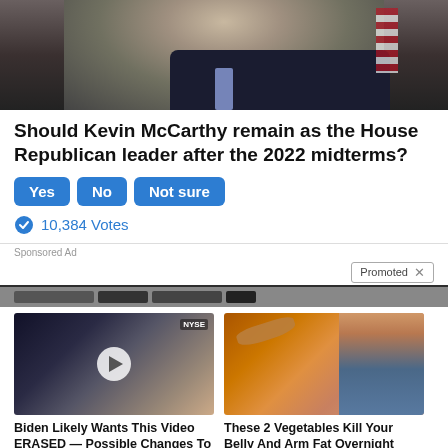[Figure (photo): Close-up photo of an older man in a dark suit with a blue/purple tie, partially visible, with an American flag in the background]
Should Kevin McCarthy remain as the House Republican leader after the 2022 midterms?
Yes
No
Not sure
10,384 Votes
Sponsored Ad
Promoted X
[Figure (photo): Biden Likely Wants This Video ERASED — Possible Changes To US Dollar Revealed | 42,254]
[Figure (photo): These 2 Vegetables Kill Your Belly And Arm Fat Overnight | 15,894]